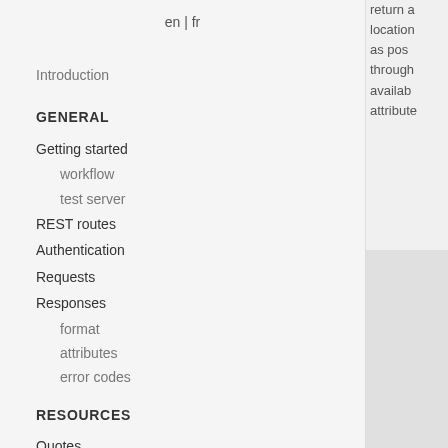en | fr
Introduction
GENERAL
Getting started
workflow
test server
REST routes
Authentication
Requests
Responses
format
attributes
error codes
RESOURCES
Quotes
request a quote
get existing quote
Offers
attributes
return a location as pos through availab attribute